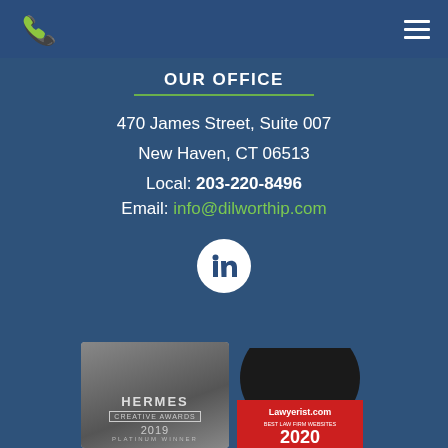Phone icon and hamburger menu
OUR OFFICE
470 James Street, Suite 007
New Haven, CT 06513
Local: 203-220-8496
Email: info@dilworthip.com
[Figure (logo): LinkedIn circular logo icon (white circle with 'in' text)]
[Figure (logo): Hermes Creative Awards 2019 Platinum Winner badge (grayscale)]
[Figure (logo): Lawyerist.com Best Law Firm Websites 2020 badge (red/black)]